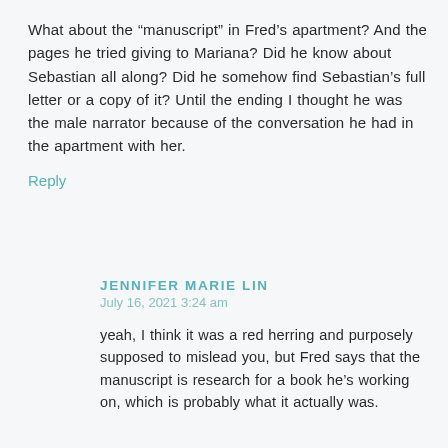What about the “manuscript” in Fred’s apartment? And the pages he tried giving to Mariana? Did he know about Sebastian all along? Did he somehow find Sebastian’s full letter or a copy of it? Until the ending I thought he was the male narrator because of the conversation he had in the apartment with her.
Reply
JENNIFER MARIE LIN
July 16, 2021 3:24 am
yeah, I think it was a red herring and purposely supposed to mislead you, but Fred says that the manuscript is research for a book he’s working on, which is probably what it actually was.